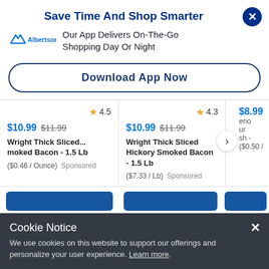Save Time And Shop Smarter
Our App Delivers On-The-Go Shopping Day Or Night
Download App Now
[Figure (other): Product card: star rating 4.5, price $10.99 (was $11.99), Wright Thick Sliced... moked Bacon - 1.5 Lb, ($0.46 / Ounce) Sponsored]
[Figure (other): Product card: star rating 4.3, price $10.99 (was $11.99), Wright Thick Sliced Hickory Smoked Bacon - 1.5 Lb, ($7.33 / Lb) Sponsored]
[Figure (other): Partial product card: price $8.99, eno ur sh -, ($0.50 /]
Cookie Notice
We use cookies on this website to support our offerings and personalize your user experience. Learn more.